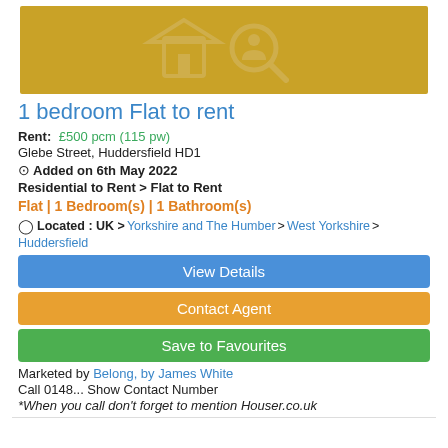[Figure (logo): Gold/yellow background banner with a stylized house search logo icon in lighter gold/cream tones]
1 bedroom Flat to rent
Rent: £500 pcm (115 pw)
Glebe Street, Huddersfield HD1
⊙ Added on 6th May 2022
Residential to Rent > Flat to Rent
Flat | 1 Bedroom(s) | 1 Bathroom(s)
Located : UK > Yorkshire and The Humber > West Yorkshire > Huddersfield
View Details
Contact Agent
Save to Favourites
Marketed by Belong, by James White
Call 0148... Show Contact Number
*When you call don't forget to mention Houser.co.uk